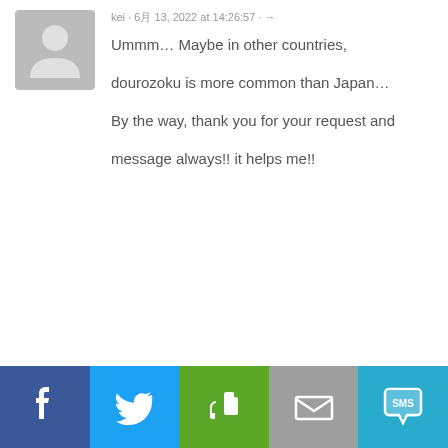kei · 6月 13, 2022 at 14:26:57 · →
Ummm… Maybe in other countries, dourozoku is more common than Japan… By the way, thank you for your request and message always!! it helps me!!
[Figure (infographic): BitLife - Life Simulator advertisement with game image, text 'How will you live your BitLife?' and blue arrow button]
[Figure (infographic): Social share bar with Facebook, Twitter, Evernote, Email, and SMS buttons]